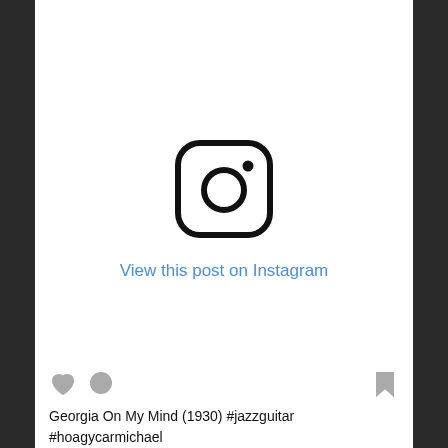[Figure (logo): Instagram logo icon — rounded square outline with a circle in the center and a small dot in the upper right, black on white]
View this post on Instagram
[Figure (other): Instagram post action bar with heart icon, comment bubble icon, and bookmark icon]
Georgia On My Mind (1930) #jazzguitar #hoagycarmichael #soundofguitars #guitarrista #guitarra #jazzstandard